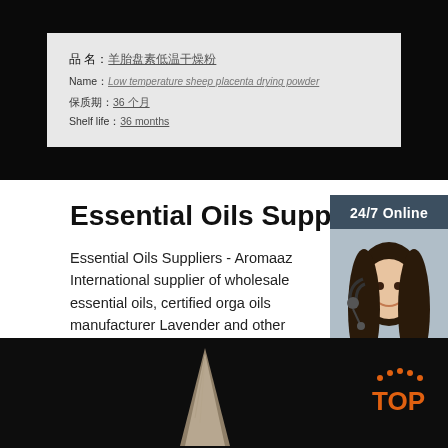[Figure (photo): Photo of a product label on white background showing Chinese and English text: product name in Chinese, Name: Low temperature sheep placenta drying powder, shelf life 36个月/36 months]
Essential Oils Suppliers
Essential Oils Suppliers - Aromaaz International supplier of wholesale essential oils, certified organic oils manufacturer Lavender and other 100% pure essential oils at …
Get Price
[Figure (photo): 24/7 Online chat widget showing a female customer support agent wearing headset, with 'Click here for free chat!' text and orange QUOTATION button]
[Figure (photo): Dark background image showing a translucent pointed object (possibly a crystal or animal tooth/horn), with orange TOP logo in bottom right corner]